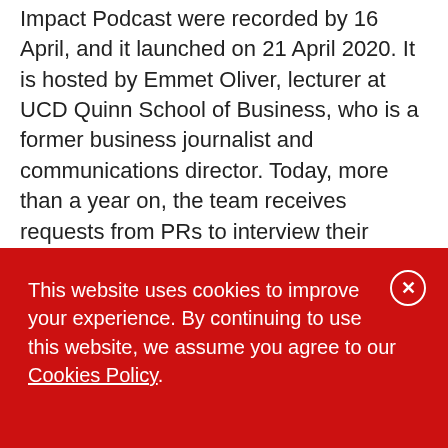Impact Podcast were recorded by 16 April, and it launched on 21 April 2020. It is hosted by Emmet Oliver, lecturer at UCD Quinn School of Business, who is a former business journalist and communications director. Today, more than a year on, the team receives requests from PRs to interview their CEOs on the podcast.

Each podcast involves a pre-chat, preparation and the actual recording. Unable to access a new state-of-the-art media suite at the university, the
This website uses cookies to improve your experience. By continuing to use this website, we assume you agree to our Cookies Policy.